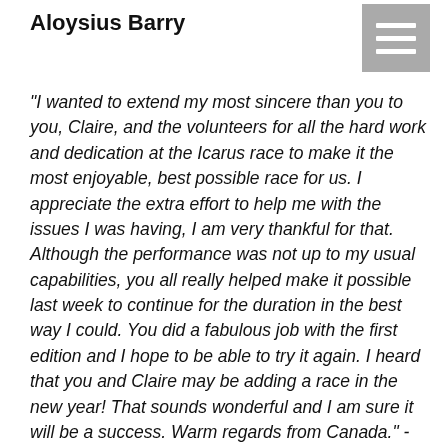Aloysius Barry
[Figure (other): Hamburger menu icon — grey square with three white horizontal lines]
"I wanted to extend my most sincere than you to you, Claire, and the volunteers for all the hard work and dedication at the Icarus race to make it the most enjoyable, best possible race for us. I appreciate the extra effort to help me with the issues I was having, I am very thankful for that. Although the performance was not up to my usual capabilities, you all really helped make it possible last week to continue for the duration in the best way I could. You did a fabulous job with the first edition and I hope to be able to try it again. I heard that you and Claire may be adding a race in the new year! That sounds wonderful and I am sure it will be a success. Warm regards from Canada." - Charlotte